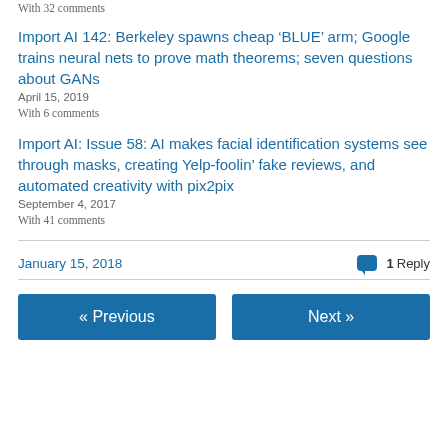With 32 comments
Import AI 142: Berkeley spawns cheap ‘BLUE’ arm; Google trains neural nets to prove math theorems; seven questions about GANs
April 15, 2019
With 6 comments
Import AI: Issue 58: AI makes facial identification systems see through masks, creating Yelp-foolin’ fake reviews, and automated creativity with pix2pix
September 4, 2017
With 41 comments
January 15, 2018
1 Reply
« Previous
Next »